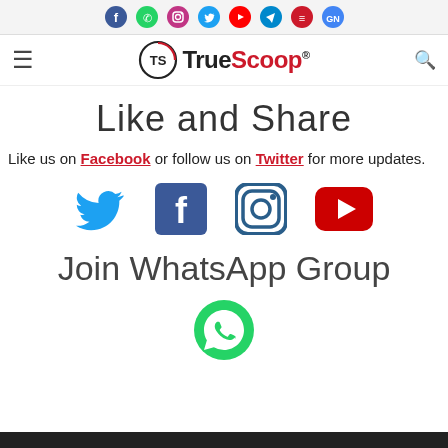TrueScoop - social media top bar icons
[Figure (logo): TrueScoop logo with TS circular emblem]
Like and Share
Like us on Facebook or follow us on Twitter for more updates.
[Figure (illustration): Social media icons: Twitter, Facebook, Instagram, YouTube]
Join WhatsApp Group
[Figure (illustration): WhatsApp icon (green circle with phone handset)]